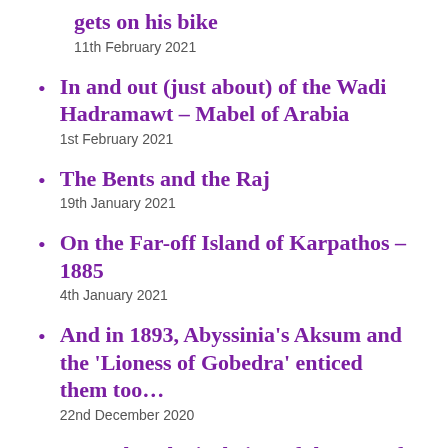gets on his bike
11th February 2021
In and out (just about) of the Wadi Hadramawt – Mabel of Arabia
1st February 2021
The Bents and the Raj
19th January 2021
On the Far-off Island of Karpathos – 1885
4th January 2021
And in 1893, Abyssinia's Aksum and the 'Lioness of Gobedra' enticed them too…
22nd December 2020
An archaeological view of the stay of the Bents on the Carian Chersonese
29th October 2020
Christopher J. F. A. Struve and Mabel Bent's